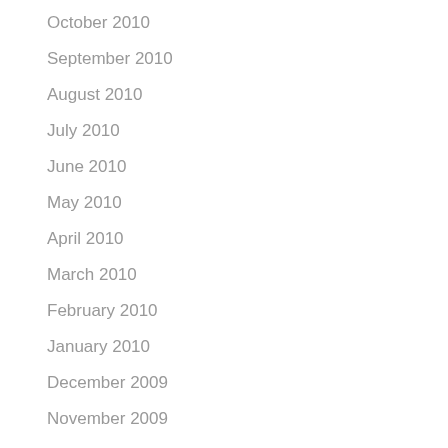October 2010
September 2010
August 2010
July 2010
June 2010
May 2010
April 2010
March 2010
February 2010
January 2010
December 2009
November 2009
October 2009
September 2009
July 2009